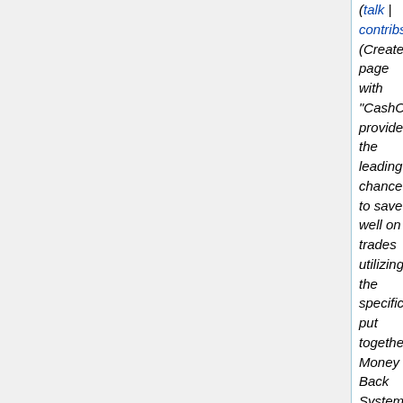(talk | contribs) (Created page with "CashCraft provides the leading chance to save well on trades utilizing the specifically put together Money Back System.Our developers is especially made to build aprofitable c...")
N 10:50 Judge handgun for sale22 (diff | hist) . . (+5,197) . . WhereTogetqualitybacklinks (talk | contribs) (Created page with "Some of types of reproduction guns incorporate flintlocks, rifles muskets, todays automate firearms and undoubtedly the...